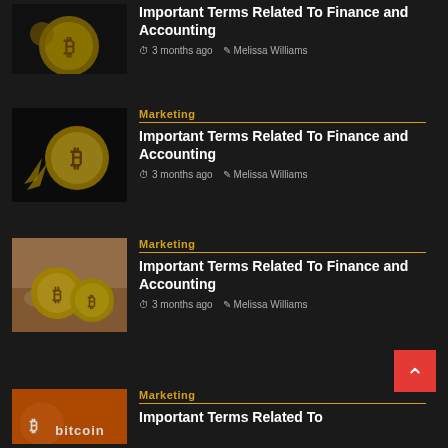[Figure (photo): Bitcoin gold coin on dark background, partially visible at top]
Important Terms Related To Finance and Accounting
3 months ago   Melissa Williams
Marketing
[Figure (photo): Bitcoin gold coin with gold nugget on dark background]
Important Terms Related To Finance and Accounting
3 months ago   Melissa Williams
Marketing
[Figure (photo): Bitcoin gold coins on sandy/rocky ground]
Important Terms Related To Finance and Accounting
3 months ago   Melissa Williams
Marketing
[Figure (photo): Bitcoin logo orange background, partially visible at bottom]
Important Terms Related To